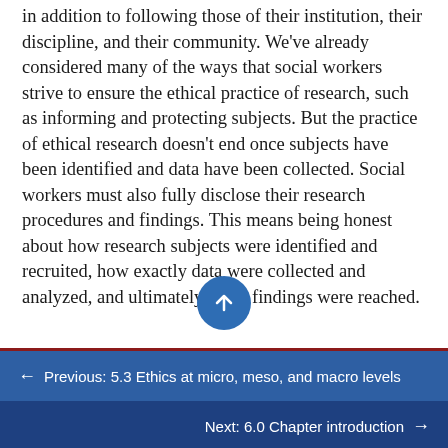in addition to following those of their institution, their discipline, and their community. We've already considered many of the ways that social workers strive to ensure the ethical practice of research, such as informing and protecting subjects. But the practice of ethical research doesn't end once subjects have been identified and data have been collected. Social workers must also fully disclose their research procedures and findings. This means being honest about how research subjects were identified and recruited, how exactly data were collected and analyzed, and ultimately, what findings were reached.
← Previous: 5.3 Ethics at micro, meso, and macro levels
Next: 6.0 Chapter introduction →